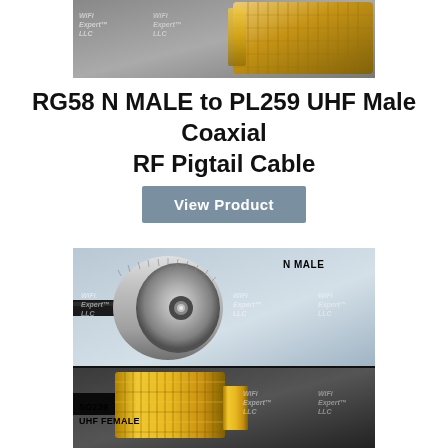[Figure (photo): Close-up photo of gold RF connector (top portion), with WiFi Expert LLC watermark]
RG58 N MALE to PL259 UHF Male Coaxial RF Pigtail Cable
View Product
[Figure (photo): Product photo showing N MALE connector (top half) and SO239 UHF FEMALE connector (bottom half), with WiFi Expert LLC watermarks]